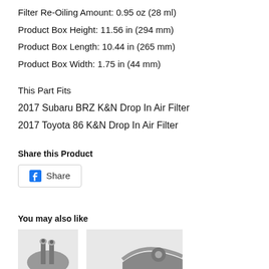Filter Re-Oiling Amount: 0.95 oz (28 ml)
Product Box Height: 11.56 in (294 mm)
Product Box Length: 10.44 in (265 mm)
Product Box Width: 1.75 in (44 mm)
This Part Fits
2017 Subaru BRZ K&N Drop In Air Filter
2017 Toyota 86 K&N Drop In Air Filter
Share this Product
[Figure (screenshot): Facebook Share button with 'f' logo icon and 'Share' text]
You may also like
[Figure (photo): Partial product photos showing automotive air filter components at the bottom of the page]